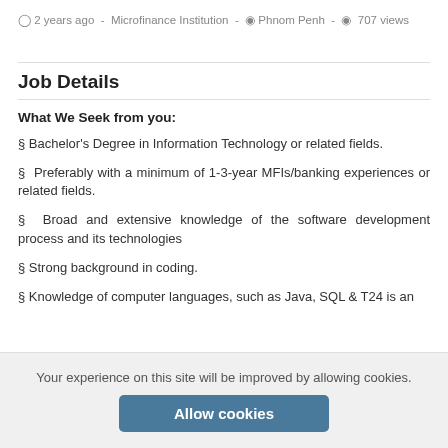2 years ago · Microfinance Institution · Phnom Penh · 707 views
Job Details
What We Seek from you:
§ Bachelor's Degree in Information Technology or related fields.
§ Preferably with a minimum of 1-3-year MFIs/banking experiences or related fields.
§ Broad and extensive knowledge of the software development process and its technologies
§ Strong background in coding.
§ Knowledge of computer languages, such as Java, SQL & T24 is an
Your experience on this site will be improved by allowing cookies.